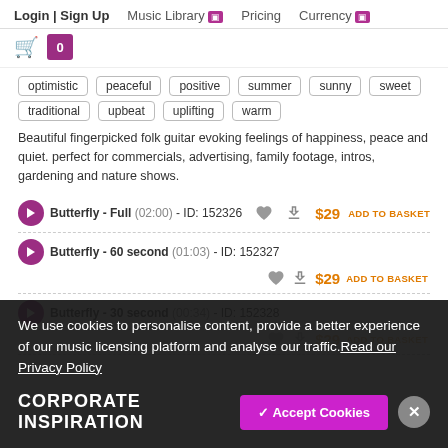Login | Sign Up  Music Library  Pricing  Currency
0
optimistic  peaceful  positive  summer  sunny  sweet  traditional  upbeat  uplifting  warm
Beautiful fingerpicked folk guitar evoking feelings of happiness, peace and quiet. perfect for commercials, advertising, family footage, intros, gardening and nature shows.
Butterfly - Full (02:00) - ID: 152326  $29 ADD TO BASKET
Butterfly - 60 second (01:03) - ID: 152327  $29 ADD TO BASKET
Butterfly - 30 second (00:34) - ID: 152328  $29 ADD TO BASKET
We use cookies to personalise content, provide a better experience of our music licensing platform and analyse our traffic.Read our Privacy Policy
CORPORATE INSPIRATION
✓ Accept Cookies